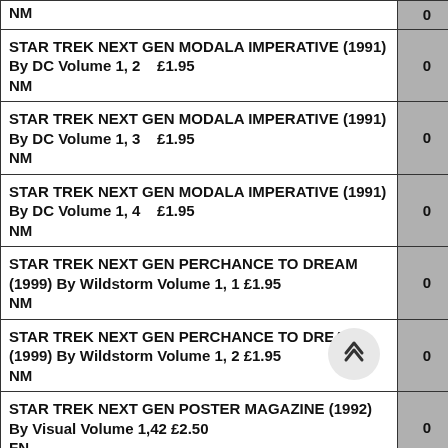| Item | Qty |
| --- | --- |
| NM | 0 |
| STAR TREK NEXT GEN MODALA IMPERATIVE (1991) By DC Volume 1, 2  £1.95
NM | 0 |
| STAR TREK NEXT GEN MODALA IMPERATIVE (1991) By DC Volume 1, 3  £1.95
NM | 0 |
| STAR TREK NEXT GEN MODALA IMPERATIVE (1991) By DC Volume 1, 4  £1.95
NM | 0 |
| STAR TREK NEXT GEN PERCHANCE TO DREAM (1999) By Wildstorm Volume 1, 1  £1.95
NM | 0 |
| STAR TREK NEXT GEN PERCHANCE TO DREAM (1999) By Wildstorm Volume 1, 2  £1.95
NM | 0 |
| STAR TREK NEXT GEN POSTER MAGAZINE (1992) By Visual Volume 1,42  £2.50
FN | 0 |
| STAR TREK NEXT GEN POSTER MAGAZINE (1992) By Visual Volume 1,64  £2.50 | 0 |